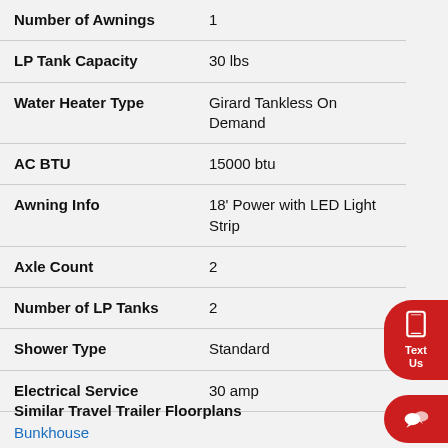| Feature | Value |
| --- | --- |
| Number of Awnings | 1 |
| LP Tank Capacity | 30 lbs |
| Water Heater Type | Girard Tankless On Demand |
| AC BTU | 15000 btu |
| Awning Info | 18' Power with LED Light Strip |
| Axle Count | 2 |
| Number of LP Tanks | 2 |
| Shower Type | Standard |
| Electrical Service | 30 amp |
Similar Travel Trailer Floorplans
Bunkhouse